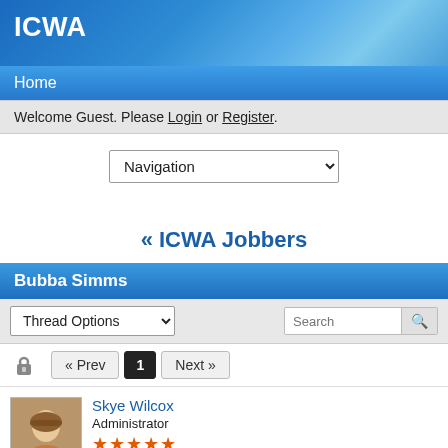ICWA
Home
Welcome Guest. Please Login or Register.
Navigation
« ICWA Jobbers
Bubba Simms
Thread Options
Search
« Prev  1  Next »
Skye Wilcox
Administrator
★★★★★
Apr 28, 2016 at 8:53am